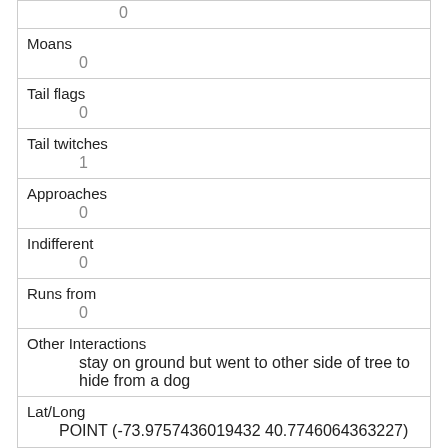|  | 0 |
| Moans | 0 |
| Tail flags | 0 |
| Tail twitches | 1 |
| Approaches | 0 |
| Indifferent | 0 |
| Runs from | 0 |
| Other Interactions | stay on ground but went to other side of tree to hide from a dog |
| Lat/Long | POINT (-73.9757436019432 40.7746064363227) |
| Link | 426 |